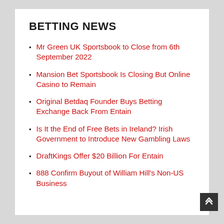BETTING NEWS
Mr Green UK Sportsbook to Close from 6th September 2022
Mansion Bet Sportsbook Is Closing But Online Casino to Remain
Original Betdaq Founder Buys Betting Exchange Back From Entain
Is It the End of Free Bets in Ireland? Irish Government to Introduce New Gambling Laws
DraftKings Offer $20 Billion For Entain
888 Confirm Buyout of William Hill's Non-US Business